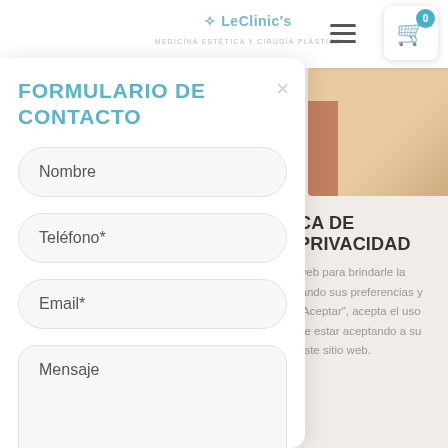LeClinic's — MEDICINA ESTÉTICA Y CIRUGÍA PLÁSTICA
FORMULARIO DE CONTACTO
Nombre
Teléfono*
Email*
Mensaje
[Figure (photo): Partial photo of a person against a beige/tan background, partially obscured by modal overlay]
CA DE PRIVACIDAD
web para brindarle la lando sus preferencias y "Aceptar", acepta el uso de estar aceptando a su este sitio web.